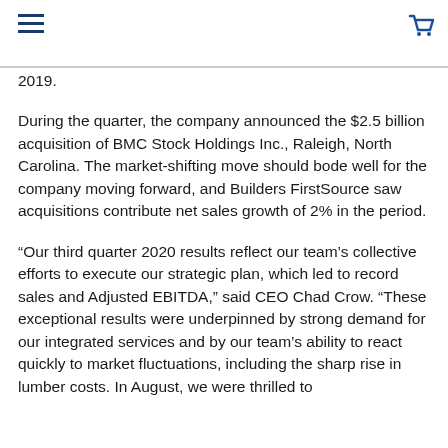2019.
During the quarter, the company announced the $2.5 billion acquisition of BMC Stock Holdings Inc., Raleigh, North Carolina. The market-shifting move should bode well for the company moving forward, and Builders FirstSource saw acquisitions contribute net sales growth of 2% in the period.
“Our third quarter 2020 results reflect our team’s collective efforts to execute our strategic plan, which led to record sales and Adjusted EBITDA,” said CEO Chad Crow. “These exceptional results were underpinned by strong demand for our integrated services and by our team’s ability to react quickly to market fluctuations, including the sharp rise in lumber costs. In August, we were thrilled to